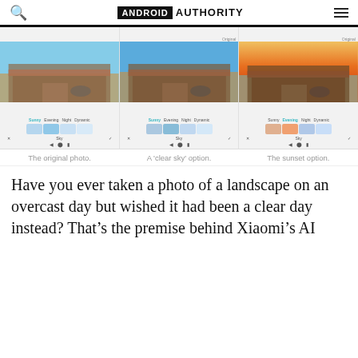ANDROID AUTHORITY
[Figure (screenshot): Three side-by-side smartphone screenshots showing a photo editing app with sky replacement feature. Left: original photo of a building with blue sky. Center: 'clear sky' option applied. Right: sunset option applied. Each screenshot shows tab options (Sunny, Evening, Night, Dynamic), sky preview thumbnails, and navigation controls.]
The original photo.    A 'clear sky' option.    The sunset option.
Have you ever taken a photo of a landscape on an overcast day but wished it had been a clear day instead? That’s the premise behind Xiaomi’s AI